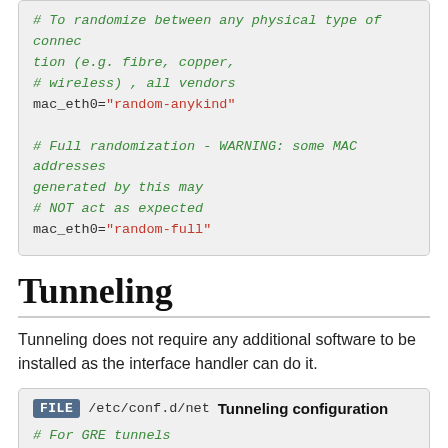# To randomize between any physical type of connection (e.g. fibre, copper,
# wireless) , all vendors
mac_eth0="random-anykind"

# Full randomization - WARNING: some MAC addresses generated by this may
# NOT act as expected
mac_eth0="random-full"
Tunneling
Tunneling does not require any additional software to be installed as the interface handler can do it.
FILE /etc/conf.d/net  Tunneling configuration
# For GRE tunnels
iptunnel_vpn0="mode gre remote 207.170.82.1 key 0xffffffff ttl 255"

# For IPIP tunnels
iptunnel_vpn0="mode ipip remote 207.170.82.2 ttl 255"